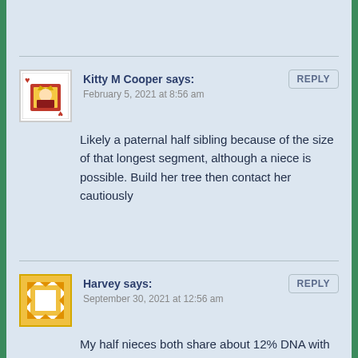Kitty M Cooper says:
February 5, 2021 at 8:56 am
REPLY
Likely a paternal half sibling because of the size of that longest segment, although a niece is possible. Build her tree then contact her cautiously
Harvey says:
September 30, 2021 at 12:56 am
REPLY
My half nieces both share about 12% DNA with me. That number seems too low and they're not a